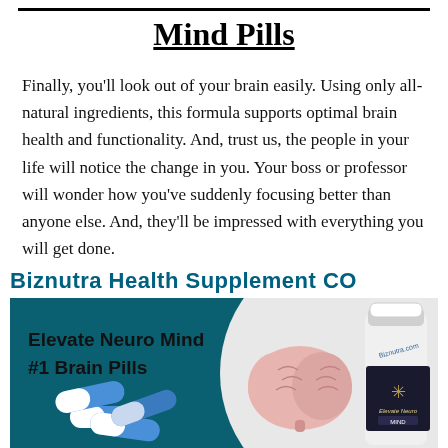Mind Pills
Finally, you'll look out of your brain easily. Using only all-natural ingredients, this formula supports optimal brain health and functionality. And, trust us, the people in your life will notice the change in you. Your boss or professor will wonder how you've suddenly focusing better than anyone else. And, they'll be impressed with everything you will get done.
Biznutra Health Supplement CO
[Figure (photo): Advertisement image showing 'Elevate Neuro Mind #1 Brain Pills' with blue/teal background, capsule pills, a brain illustration, and a product bottle labeled 'Biznutra.com' and 'Elevate Neuro MIND']